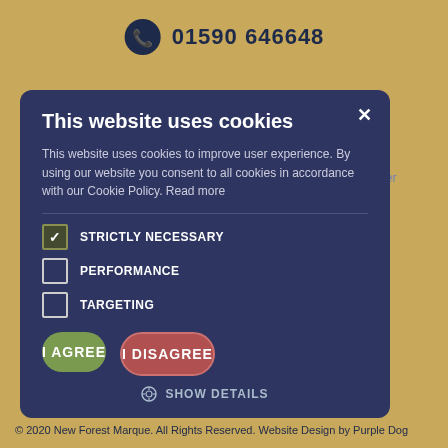01590 646648
hello@newforestmarque.co.uk
New Forest Produce Ltd T/A New Forest Marque | Company Number 05212215 registered in England and Wales
Privacy & Cookies
Terms and Conditions
Members Area
This website uses cookies
This website uses cookies to improve user experience. By using our website you consent to all cookies in accordance with our Cookie Policy. Read more
STRICTLY NECESSARY
PERFORMANCE
TARGETING
I AGREE
I DISAGREE
SHOW DETAILS
© 2020 New Forest Marque. All Rights Reserved. Website Design by Purple Dog